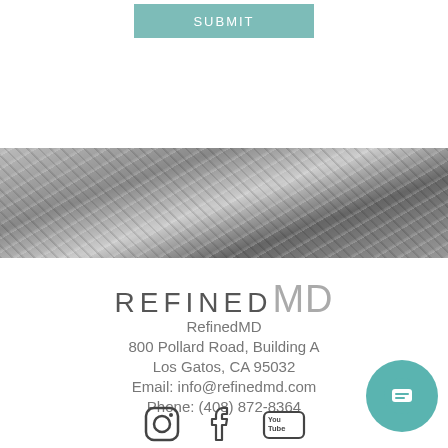[Figure (screenshot): Form submit button area with white overlay on textured stone/concrete background image]
[Figure (photo): Black and white textured stone/concrete wall or surface — cracked and weathered]
[Figure (logo): RefinedMD logo — 'REFINED' in thin spaced dark letters, 'MD' in large light gray letters]
RefinedMD
800 Pollard Road, Building A
Los Gatos, CA 95032
Email: info@refinedmd.com
Phone: (408) 872-8364
[Figure (illustration): Social media icons: Instagram, Facebook, YouTube]